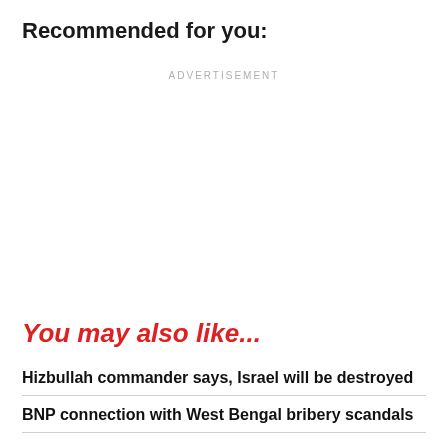Recommended for you:
ADVERTISEMENT
You may also like...
Hizbullah commander says, Israel will be destroyed
BNP connection with West Bengal bribery scandals